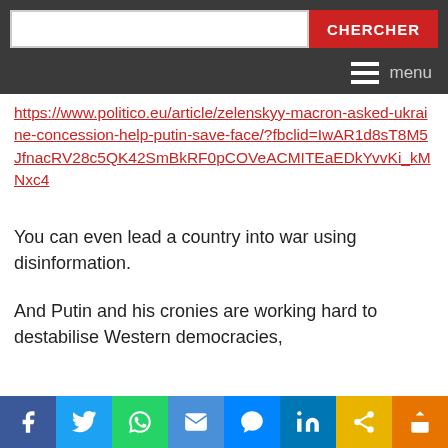[Figure (screenshot): Website header with search bar and CHERCHER button on dark grey background, plus hamburger menu with 'menu' label]
https://www.politico.eu/article/zelenskyy-macron-asked-ukraine-concession-help-putin-save-face/?fbclid=IwAR1d8sT8M5JfnacRV28c5QK42SmBkRF0pCOVeACMITEaEDkYvvKi_kMNxc4
You can even lead a country into war using disinformation.
And Putin and his cronies are working hard to destabilise Western democracies,
[Figure (screenshot): Social media sharing bar with icons for Facebook, Twitter, WhatsApp, Email, Messenger, LinkedIn, Google, and Share]